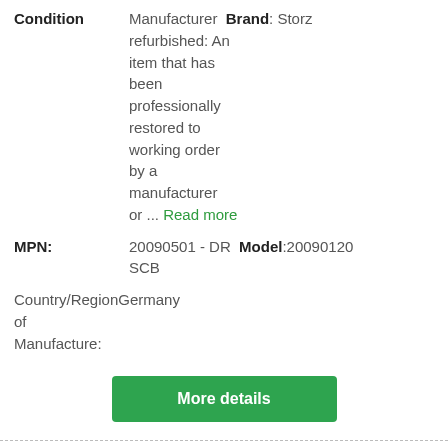Condition: Manufacturer refurbished: An item that has been professionally restored to working order by a manufacturer or ... Read more   Brand: Storz
MPN: 20090501 - DR   Model: 20090120 SCB
Country/Region of Manufacture: Germany
More details